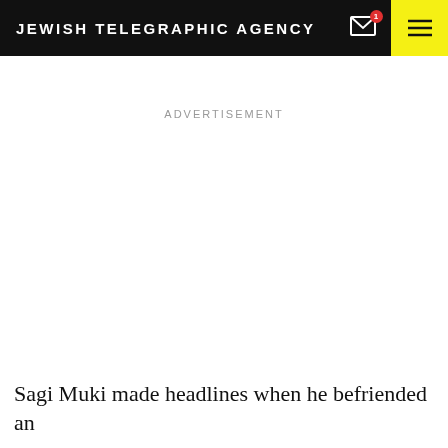JEWISH TELEGRAPHIC AGENCY
ADVERTISEMENT
Sagi Muki made headlines when he befriended an